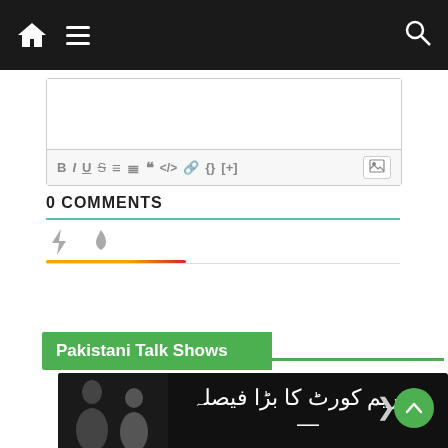Navigation bar with home icon, hamburger menu, and search icon
[Figure (screenshot): Comment editor toolbar with formatting buttons: B, I, U, S, ordered list, unordered list, blockquote, code, link, {}, [+], and image button]
0 COMMENTS
[Figure (screenshot): Comment section icons: lightning bolt and fire/flame icon, with orange-red gradient underline and gray separator line]
Pakistani Talk Shows
[Figure (photo): Thumbnail showing two people and Urdu text on dark background reading 'Supreme Court ka bara faisla —']